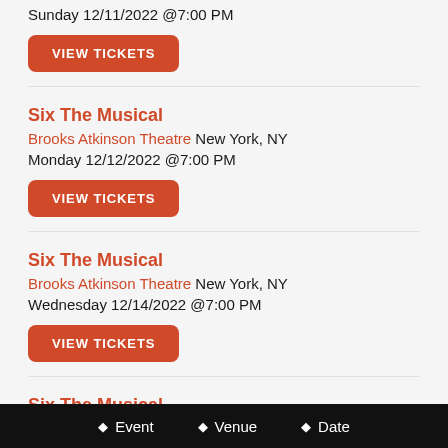Sunday 12/11/2022 @7:00 PM
VIEW TICKETS
Six The Musical
Brooks Atkinson Theatre New York, NY
Monday 12/12/2022 @7:00 PM
VIEW TICKETS
Six The Musical
Brooks Atkinson Theatre New York, NY
Wednesday 12/14/2022 @7:00 PM
VIEW TICKETS
Six The Musical
Brooks Atkinson Theatre New York, NY
Event   Venue   Date